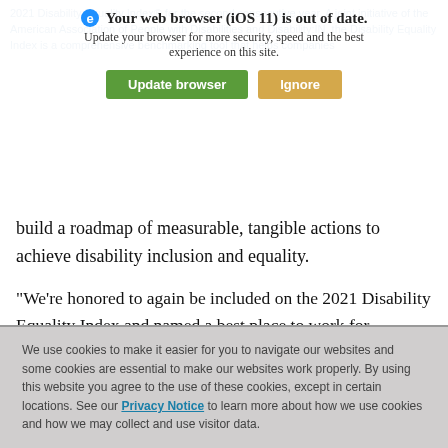[Figure (screenshot): Browser update warning overlay with green 'Update browser' button and tan 'Ignore' button, over faded background text about 2021 Disability Equality Index]
build a roadmap of measurable, tangible actions to achieve disability inclusion and equality.
“We’re honored to again be included on the 2021 Disability Equality Index and named a best place to work for disability inclusion," said Kenneth Imo, Vice President, Office of Minority & Women Inclusion, Fannie Mae. "Fannie Mae promotes diversity, equity, and inclusion because they are central to our
We use cookies to make it easier for you to navigate our websites and some cookies are essential to make our websites work properly. By using this website you agree to the use of these cookies, except in certain locations. See our Privacy Notice to learn more about how we use cookies and how we may collect and use visitor data.